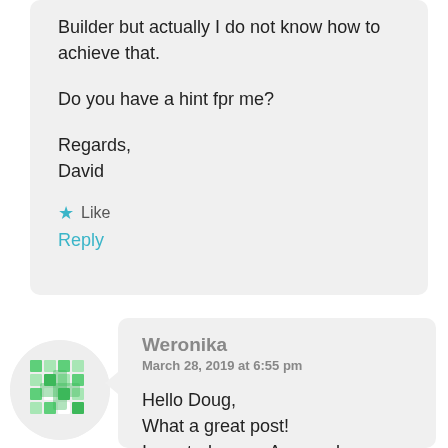Builder but actually I do not know how to achieve that.

Do you have a hint fpr me?

Regards,
David
★ Like
Reply
[Figure (illustration): Green mosaic/geometric avatar for user Weronika]
Weronika
March 28, 2019 at 6:55 pm

Hello Doug,
What a great post!
I created a new Approvals Related List on the Quote object that only